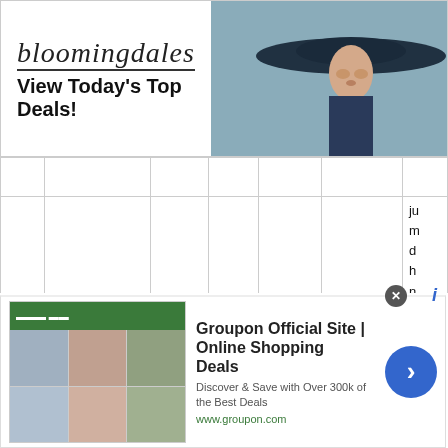[Figure (screenshot): Bloomingdales advertisement banner: logo, 'View Today's Top Deals!', woman in hat photo, 'SHOP NOW >' button]
|  | Name | POS | Grade | Year | Risk | Notes |
| --- | --- | --- | --- | --- | --- | --- |
| 13 | Nick Travieso | RHP | C+ | 2018 | Medium | ju m d h n n W v R T g s ju |
[Figure (screenshot): Groupon advertisement: 'Groupon Official Site | Online Shopping Deals - Discover & Save with Over 300k of the Best Deals - www.groupon.com' with arrow button]